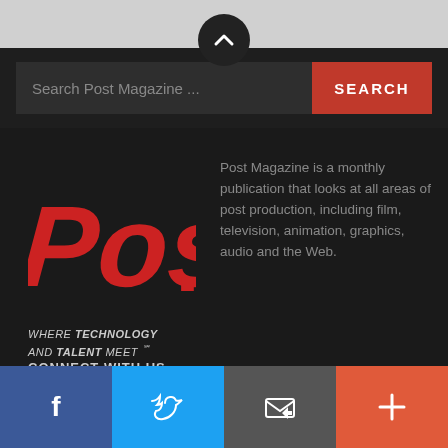[Figure (screenshot): Up arrow navigation button (dark circle with chevron up icon) on gray bar]
Search Post Magazine ...
SEARCH
[Figure (logo): Post Magazine logo in red italic bold lettering on dark background]
WHERE TECHNOLOGY AND TALENT MEET ℠
Post Magazine is a monthly publication that looks at all areas of post production, including film, television, animation, graphics, audio and the Web.
CONNECT WITH US
[Figure (infographic): Social media sharing bar with Facebook (blue), Twitter (light blue), Email/envelope (gray), and More/plus (orange-red) icons]